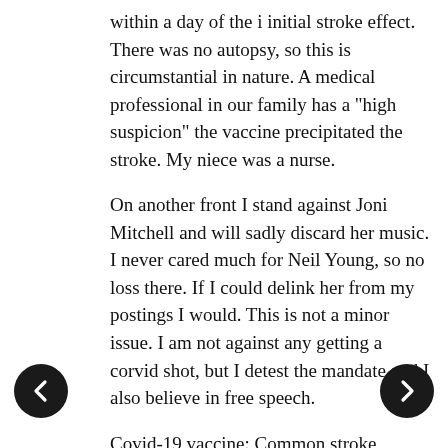within a day of the i initial stroke effect. There was no autopsy, so this is circumstantial in nature. A medical professional in our family has a "high suspicion" the vaccine precipitated the stroke. My niece was a nurse.
On another front I stand against Joni Mitchell and will sadly discard her music. I never cared much for Neil Young, so no loss there. If I could delink her from my postings I would. This is not a minor issue. I am not against any getting a corvid shot, but I detest the mandate and I also believe in free speech.
Covid-19 vaccine: Common stroke symptoms must be ‘urgently evaluated’
https://www.ucl.ac.uk/news/2021/may/covid-19-vaccine-common-stroke-symptoms-